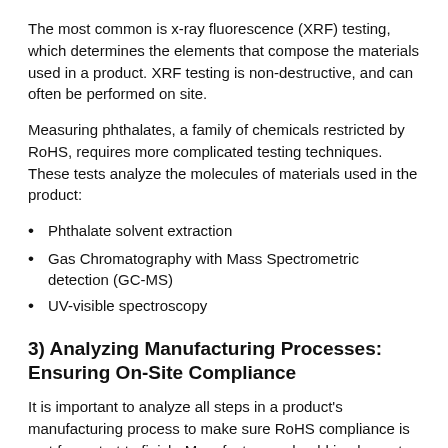The most common is x-ray fluorescence (XRF) testing, which determines the elements that compose the materials used in a product. XRF testing is non-destructive, and can often be performed on site.
Measuring phthalates, a family of chemicals restricted by RoHS, requires more complicated testing techniques. These tests analyze the molecules of materials used in the product:
Phthalate solvent extraction
Gas Chromatography with Mass Spectrometric detection (GC-MS)
UV-visible spectroscopy
3) Analyzing Manufacturing Processes: Ensuring On-Site Compliance
It is important to analyze all steps in a product's manufacturing process to make sure RoHS compliance is met from start to finish. Manufacturers should implement a detailed system to ensure quality control throughout each step of production, and perform an audit to identify failures in the processes that threaten